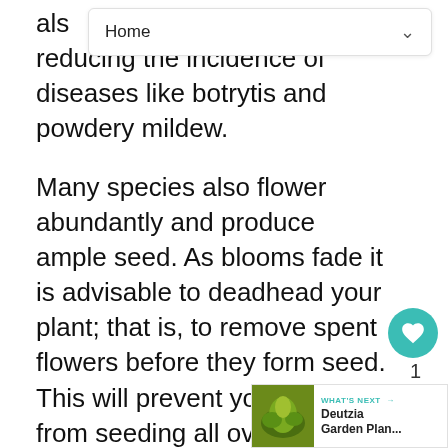Home
als reducing the incidence of diseases like botrytis and powdery mildew.
Many species also flower abundantly and produce ample seed. As blooms fade it is advisable to deadhead your plant; that is, to remove spent flowers before they form seed. This will prevent your plants from seeding all over the garden and will conserve the considerable energy it takes the plant to produce seed.
As perennials mature, they may form a dense root mass that eventually leads to a vigorous plant. It is advisable to occasionally thin out stems before as periodi...
[Figure (screenshot): What's Next overlay showing Deutzia Garden Plan... thumbnail with teal arrow label]